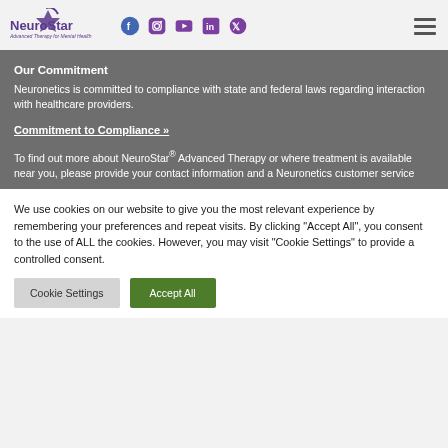NeuroStar Advanced Therapy for Mental Health — Navigation header with social icons and menu
Our Commitment
Neuronetics is committed to compliance with state and federal laws regarding interaction with healthcare providers.
Commitment to Compliance »
To find out more about NeuroStar® Advanced Therapy or where treatment is available near you, please provide your contact information and a Neuronetics customer service
We use cookies on our website to give you the most relevant experience by remembering your preferences and repeat visits. By clicking "Accept All", you consent to the use of ALL the cookies. However, you may visit "Cookie Settings" to provide a controlled consent.
Cookie Settings   Accept All